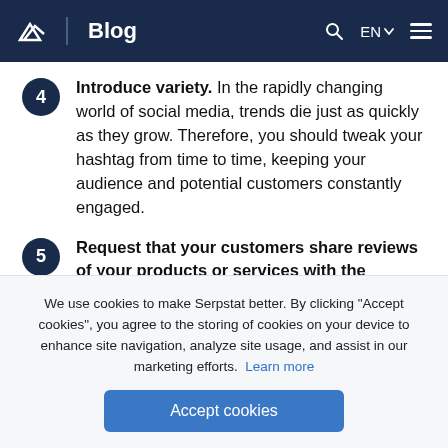Blog
Introduce variety. In the rapidly changing world of social media, trends die just as quickly as they grow. Therefore, you should tweak your hashtag from time to time, keeping your audience and potential customers constantly engaged.
Request that your customers share reviews of your products or services with the hashtag. This step is crucial in popularizing the hashtag...
We use cookies to make Serpstat better. By clicking "Accept cookies", you agree to the storing of cookies on your device to enhance site navigation, analyze site usage, and assist in our marketing efforts. Learn more
Accept cookies